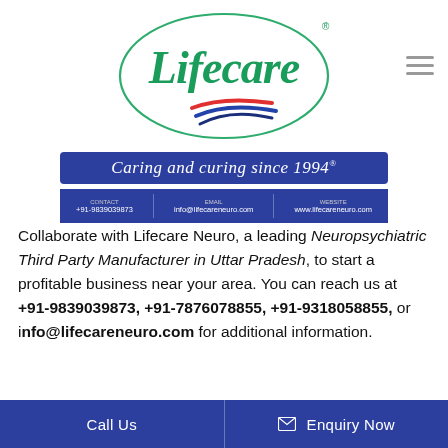[Figure (logo): Lifecare logo: oval green border with 'Lifecare' in green italic serif font, red and blue swoosh beneath, registered trademark symbol]
[Figure (other): Hamburger menu icon (three horizontal gray lines) top right]
Caring and curing since 1994®
Contact: +91-9839039873 | Email: info@lifecareneuro.com | Website: www.lifecareneuro.com
Collaborate with Lifecare Neuro, a leading Neuropsychiatric Third Party Manufacturer in Uttar Pradesh, to start a profitable business near your area. You can reach us at +91-9839039873, +91-7876078855, +91-9318058855, or info@lifecareneuro.com for additional information.
Call Us
Enquiry Now